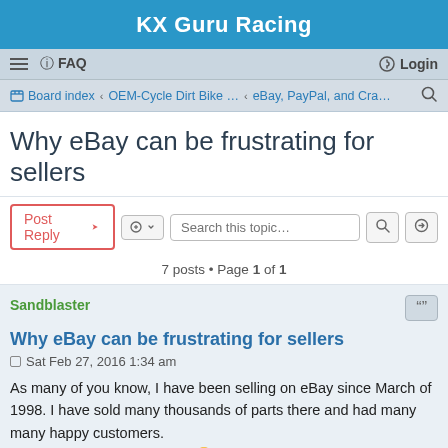KX Guru Racing
≡  FAQ  Login
Board index · OEM-Cycle Dirt Bike … · eBay, PayPal, and Cra…
Why eBay can be frustrating for sellers
Post Reply  [tools]  Search this topic…  7 posts • Page 1 of 1
Sandblaster
Why eBay can be frustrating for sellers
Sat Feb 27, 2016 1:34 am
As many of you know, I have been selling on eBay since March of 1998. I have sold many thousands of parts there and had many many happy customers.
But not all have been happy 😮
Why?
Simply put, I am not perfect, my customers are not perfect, and eBay is FAR from perfect 😐
Take for instance this latest negative feedback from a unhappy customer.